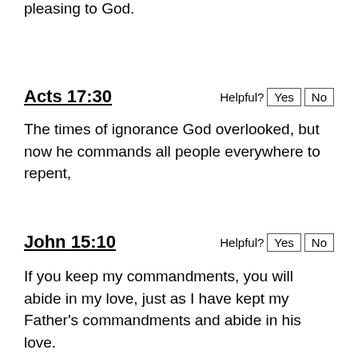pleasing to God.
Acts 17:30
The times of ignorance God overlooked, but now he commands all people everywhere to repent,
John 15:10
If you keep my commandments, you will abide in my love, just as I have kept my Father's commandments and abide in his love.